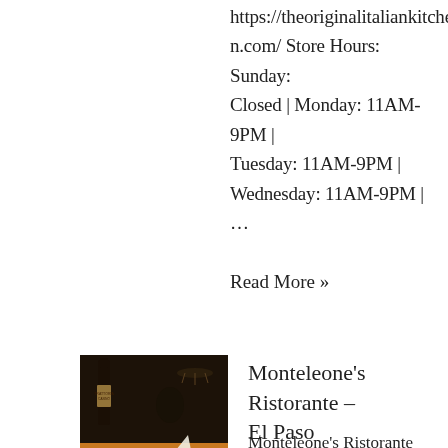https://theoriginalitaliankitchen.com/ Store Hours: Sunday: Closed | Monday: 11AM-9PM | Tuesday: 11AM-9PM | Wednesday: 11AM-9PM | ...
Read More »
[Figure (photo): Restaurant table with a plate of food (pasta with red sauce) in the foreground, dark restaurant interior with wine bottle and chandelier visible in background.]
Monteleone's Ristorante – El Paso
Monteleone's Ristorante Description: Quirky family-